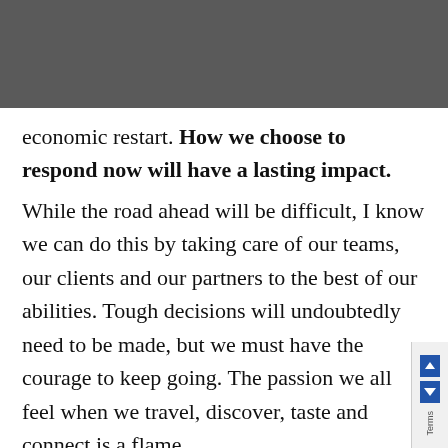shortening the duration of the economic shock, we too can take steps toward preparing for an
economic restart. How we choose to respond now will have a lasting impact.
While the road ahead will be difficult, I know we can do this by taking care of our teams, our clients and our partners to the best of our abilities. Tough decisions will undoubtedly need to be made, but we must have the courage to keep going. The passion we all feel when we travel, discover, taste and connect is a flame